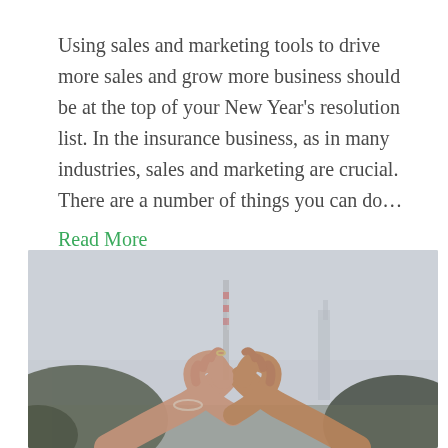Using sales and marketing tools to drive more sales and grow more business should be at the top of your New Year's resolution list. In the insurance business, as in many industries, sales and marketing are crucial. There are a number of things you can do…
Read More
[Figure (photo): Two pairs of hands forming a heart shape against a blurred background with a tower or building structure visible.]